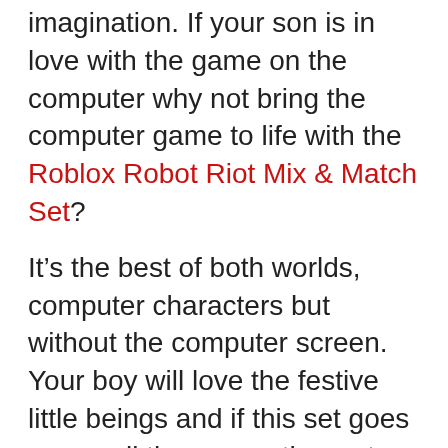imagination. If your son is in love with the game on the computer why not bring the computer game to life with the Roblox Robot Riot Mix & Match Set?
It’s the best of both worlds, computer characters but without the computer screen. Your boy will love the festive little beings and if this set goes over well there are other sets as well.
Up Side
Four sets available
From the computer game Roblox